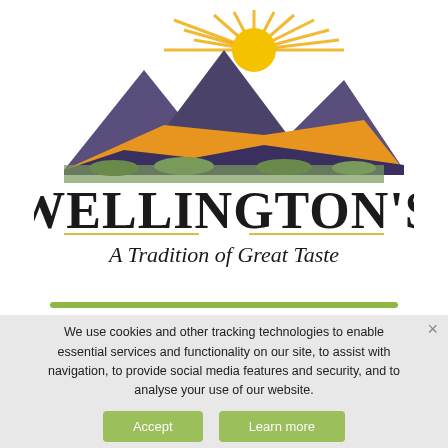[Figure (logo): Wellington's restaurant logo featuring mountain landscape with sunburst, bold text 'WELLINGTON'S' and italic tagline 'A Tradition of Great Taste']
We use cookies and other tracking technologies to enable essential services and functionality on our site, to assist with navigation, to provide social media features and security, and to analyse your use of our website.
Accept   Learn more